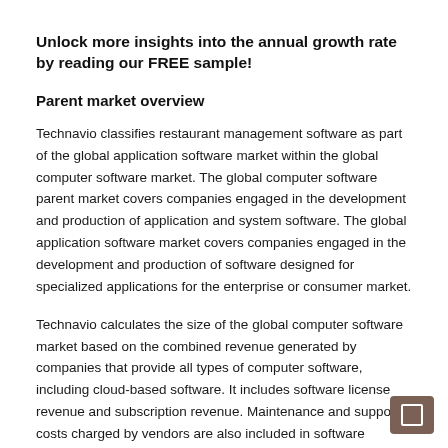Unlock more insights into the annual growth rate by reading our FREE sample!
Parent market overview
Technavio classifies restaurant management software as part of the global application software market within the global computer software market. The global computer software parent market covers companies engaged in the development and production of application and system software. The global application software market covers companies engaged in the development and production of software designed for specialized applications for the enterprise or consumer market.
Technavio calculates the size of the global computer software market based on the combined revenue generated by companies that provide all types of computer software, including cloud-based software. It includes software license revenue and subscription revenue. Maintenance and support costs charged by vendors are also included in software revenue.